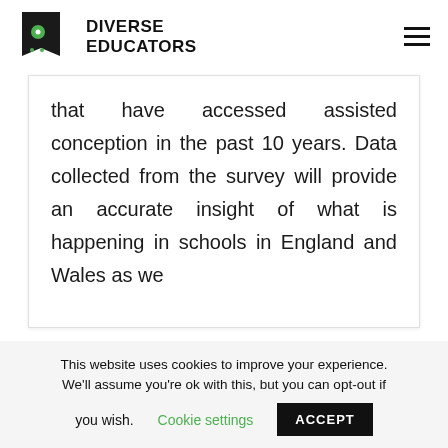DIVERSE EDUCATORS
that have accessed assisted conception in the past 10 years. Data collected from the survey will provide an accurate insight of what is happening in schools in England and Wales as we
This website uses cookies to improve your experience. We'll assume you're ok with this, but you can opt-out if you wish. Cookie settings ACCEPT